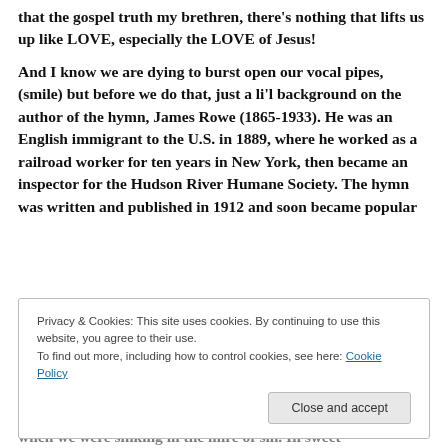that the gospel truth my brethren, there's nothing that lifts us up like LOVE, especially the LOVE of Jesus!
And I know we are dying to burst open our vocal pipes, (smile) but before we do that, just a li'l background on the author of the hymn, James Rowe (1865-1933). He was an English immigrant to the U.S. in 1889, where he worked as a railroad worker for ten years in New York, then became an inspector for the Hudson River Humane Society. The hymn was written and published in 1912 and soon became popular
Privacy & Cookies: This site uses cookies. By continuing to use this website, you agree to their use. To find out more, including how to control cookies, see here: Cookie Policy
when we were sinking in the mire of sin. In sweet